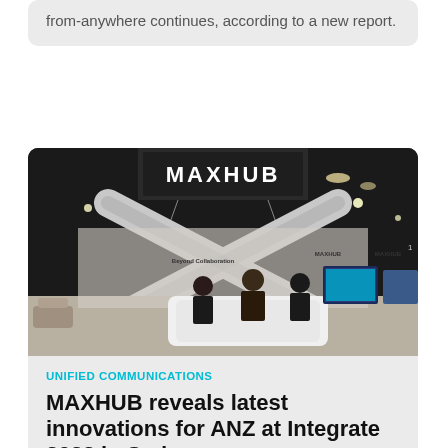from-anywhere continues, according to a new report.
[Figure (photo): MAXHUB exhibition booth at a trade show, with large MAXHUB signage overhead, an X-shaped display structure, and people standing at the booth with screens visible in the background.]
UNIFIED COMMUNICATIONS
MAXHUB reveals latest innovations for ANZ at Integrate 2022 in Sydney
Some of the most exciting and innovative updates from this year's